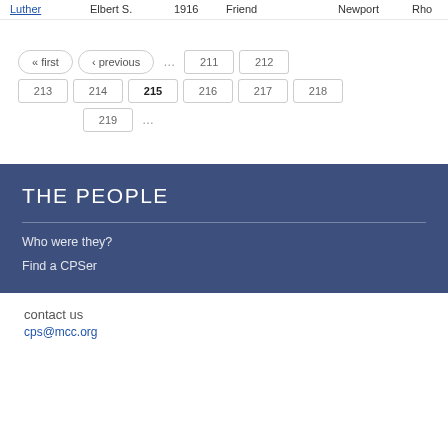Luther | Elbert S. | 1916 | Friend | Newport | Rho
« first  ‹ previous  …  211  212  213  214  215  216  217  218  219  …
THE PEOPLE
Who were they?
Find a CPSer
contact us
cps@mcc.org